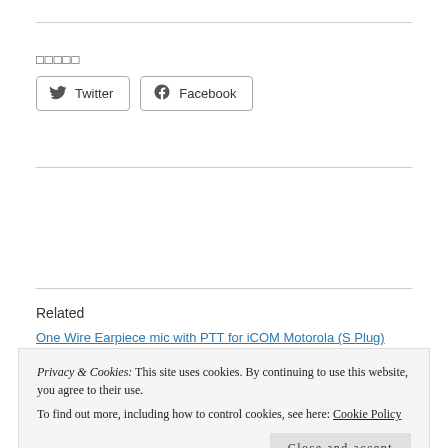□□□□□
Twitter  Facebook
Related
One Wire Earpiece mic with PTT for iCOM Motorola (S Plug)
Privacy & Cookies: This site uses cookies. By continuing to use this website, you agree to their use.
To find out more, including how to control cookies, see here: Cookie Policy
Close and accept
2018-07-17